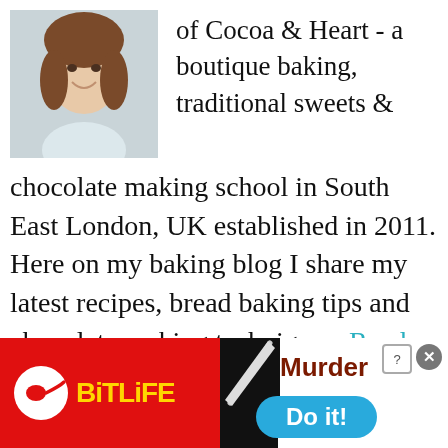[Figure (photo): Portrait photo of a young woman with brown hair, wearing a light-colored top, smiling.]
of Cocoa & Heart - a boutique baking, traditional sweets & chocolate making school in South East London, UK established in 2011. Here on my baking blog I share my latest recipes, bread baking tips and chocolate making technigues. Read More...
LATEST FROM THE BLOG
[Figure (photo): Partial thumbnail of a blog post image, cropped at bottom of page.]
[Figure (screenshot): Advertisement banner: BitLife game ad on red background on the left, and a Murder/Do it! game ad on the right with blue button.]